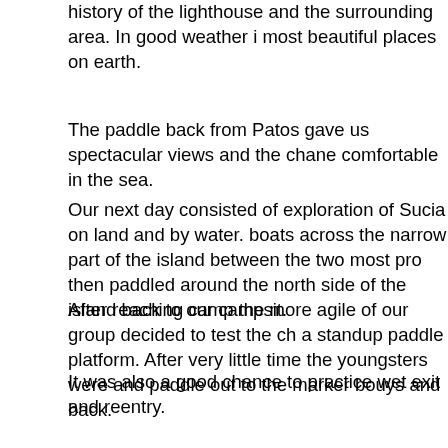history of the lighthouse and the surrounding area. In good weather i most beautiful places on earth.
The paddle back from Patos gave us spectacular views and the chance comfortable in the sea.
Our next day consisted of exploration of Sucia on land and by water. boats across the narrow part of the island between the two most pro then paddled around the north side of the island back to our campsit.
After reaching camp the more agile of our group decided to test the ch a standup paddle platform. After very little time the youngsters were and paddle out to the marker bouys and back.
It was also a good chance to practice wet exit and reentry.
After three days on Sucia we moved on to Matia State Park where we our last night of camping. This paddle was where I gained a great app stability of the Chesapeake 17. There was a good breeze, a noticeable some waves that initially alarmed me. The boat cut through the sea lik a frozen pond. A little lean. A lot of paddling on one side and we were